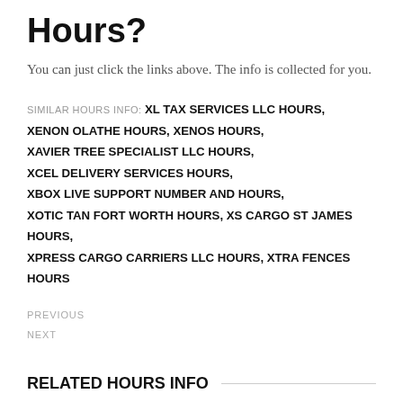Hours?
You can just click the links above. The info is collected for you.
SIMILAR HOURS INFO: XL TAX SERVICES LLC HOURS, XENON OLATHE HOURS, XENOS HOURS, XAVIER TREE SPECIALIST LLC HOURS, XCEL DELIVERY SERVICES HOURS, XBOX LIVE SUPPORT NUMBER AND HOURS, XOTIC TAN FORT WORTH HOURS, XS CARGO ST JAMES HOURS, XPRESS CARGO CARRIERS LLC HOURS, XTRA FENCES HOURS
PREVIOUS
NEXT
RELATED HOURS INFO